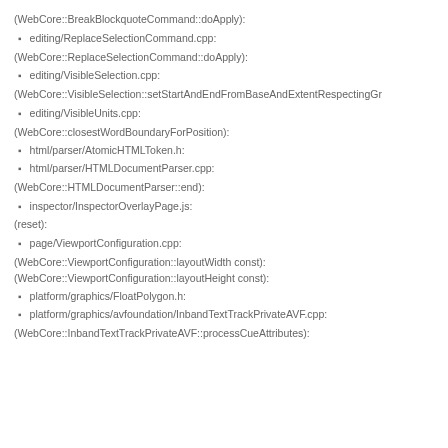(WebCore::BreakBlockquoteCommand::doApply):
editing/ReplaceSelectionCommand.cpp:
(WebCore::ReplaceSelectionCommand::doApply):
editing/VisibleSelection.cpp:
(WebCore::VisibleSelection::setStartAndEndFromBaseAndExtentRespectingGr
editing/VisibleUnits.cpp:
(WebCore::closestWordBoundaryForPosition):
html/parser/AtomicHTMLToken.h:
html/parser/HTMLDocumentParser.cpp:
(WebCore::HTMLDocumentParser::end):
inspector/InspectorOverlayPage.js:
(reset):
page/ViewportConfiguration.cpp:
(WebCore::ViewportConfiguration::layoutWidth const):
(WebCore::ViewportConfiguration::layoutHeight const):
platform/graphics/FloatPolygon.h:
platform/graphics/avfoundation/InbandTextTrackPrivateAVF.cpp:
(WebCore::InbandTextTrackPrivateAVF::processCueAttributes):